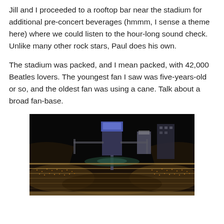Jill and I proceeded to a rooftop bar near the stadium for additional pre-concert beverages (hmmm, I sense a theme here) where we could listen to the hour-long sound check. Unlike many other rock stars, Paul does his own.
The stadium was packed, and I mean packed, with 42,000 Beatles lovers. The youngest fan I saw was five-years-old or so, and the oldest fan was using a cane. Talk about a broad fan-base.
[Figure (photo): Night-time photo of a packed stadium with bright lights illuminating the stands filled with tens of thousands of concert-goers. Large stage structures and screens are visible above the crowd.]